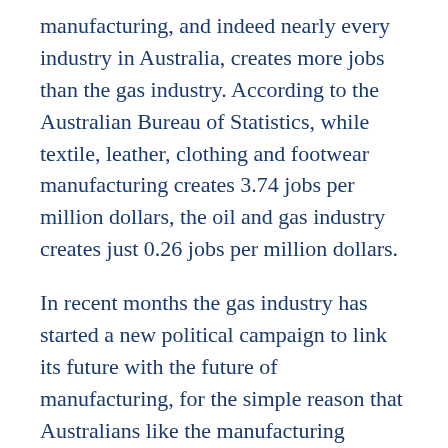manufacturing, and indeed nearly every industry in Australia, creates more jobs than the gas industry. According to the Australian Bureau of Statistics, while textile, leather, clothing and footwear manufacturing creates 3.74 jobs per million dollars, the oil and gas industry creates just 0.26 jobs per million dollars.
In recent months the gas industry has started a new political campaign to link its future with the future of manufacturing, for the simple reason that Australians like the manufacturing industry and don't really like the gas industry. In particular, Australians don't like the idea that we should frack for more gas under farmland.
The Coalition government and the gas industry would have Australians believe that the best way